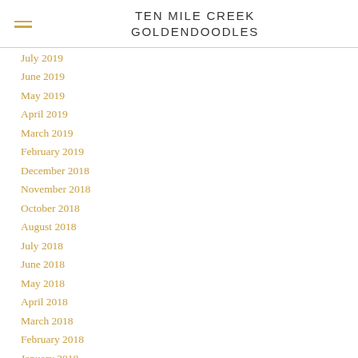TEN MILE CREEK GOLDENDOODLES
July 2019
June 2019
May 2019
April 2019
March 2019
February 2019
December 2018
November 2018
October 2018
August 2018
July 2018
June 2018
May 2018
April 2018
March 2018
February 2018
January 2018